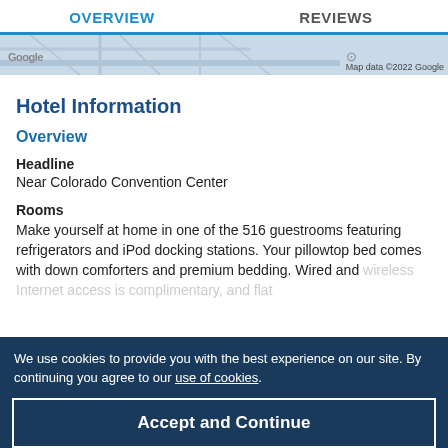OVERVIEW   REVIEWS
[Figure (map): Google Maps strip showing partial map with Google logo and 'Map data ©2022 Google' attribution]
Hotel Information
Overview
Headline
Near Colorado Convention Center
Rooms
Make yourself at home in one of the 516 guestrooms featuring refrigerators and iPod docking stations. Your pillowtop bed comes with down comforters and premium bedding. Wired and wireless Internet access is complimentary, and flat-...
We use cookies to provide you with the best experience on our site. By continuing you agree to our use of cookies.
Accept and Continue